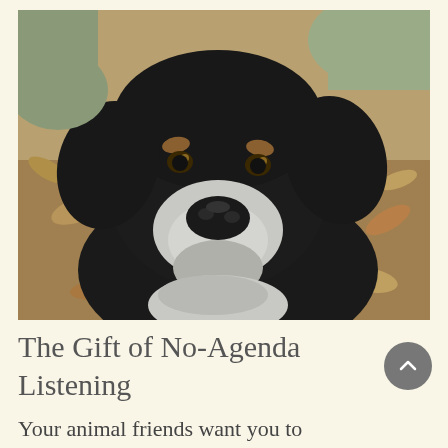[Figure (photo): Close-up photo of a black and white older dog with a gray muzzle, looking at the camera, sitting among fallen autumn leaves on the ground.]
The Gift of No-Agenda Listening
Your animal friends want you to